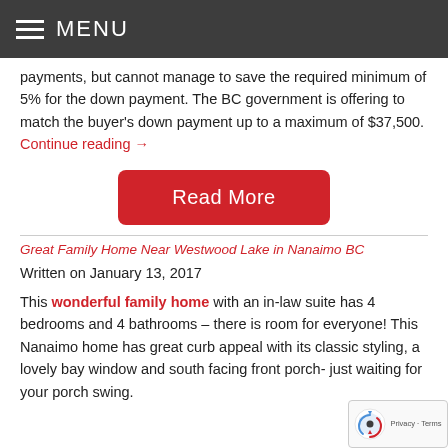MENU
payments, but cannot manage to save the required minimum of 5% for the down payment. The BC government is offering to match the buyer's down payment up to a maximum of $37,500. Continue reading →
[Figure (other): Red rounded rectangle button with white text 'Read More']
Great Family Home Near Westwood Lake in Nanaimo BC
Written on January 13, 2017
This wonderful family home with an in-law suite has 4 bedrooms and 4 bathrooms – there is room for everyone! This Nanaimo home has great curb appeal with its classic styling, a lovely bay window and south facing front porch- just waiting for your porch swing.